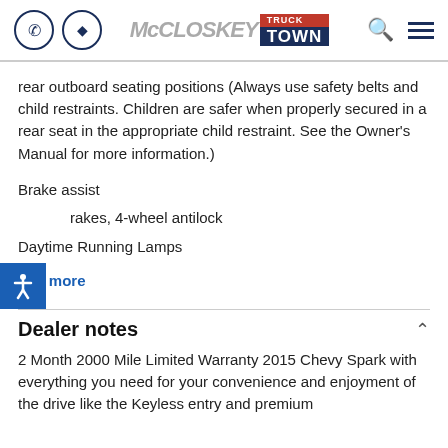McCloskey TRUCK TOWN
rear outboard seating positions (Always use safety belts and child restraints. Children are safer when properly secured in a rear seat in the appropriate child restraint. See the Owner's Manual for more information.)
Brake assist
Brakes, 4-wheel antilock
Daytime Running Lamps
See more
Dealer notes
2 Month 2000 Mile Limited Warranty 2015 Chevy Spark with everything you need for your convenience and enjoyment of the drive like the Keyless entry and premium